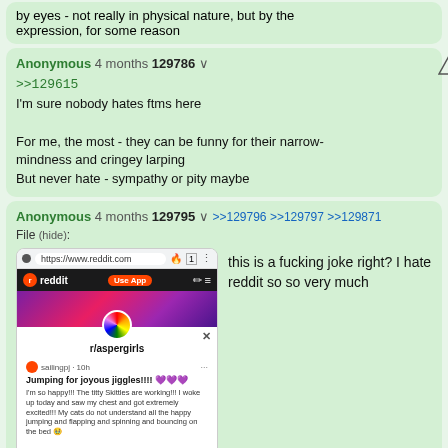by eyes - not really in physical nature, but by the expression, for some reason
Anonymous 4 months 129786
>>129615
I'm sure nobody hates ftms here

For me, the most - they can be funny for their narrow-mindness and cringey larping
But never hate - sympathy or pity maybe
Anonymous 4 months 129795 >>129796 >>129797 >>129871
File (hide):
this is a fucking joke right? I hate reddit so so very much